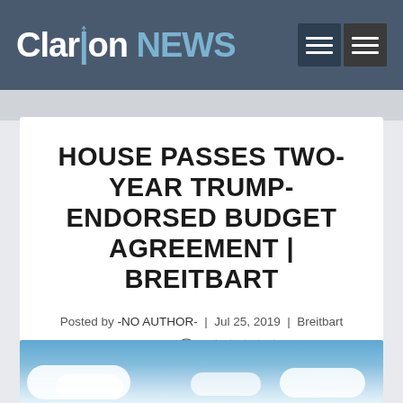Clarion NEWS
HOUSE PASSES TWO-YEAR TRUMP-ENDORSED BUDGET AGREEMENT | BREITBART
Posted by -NO AUTHOR- | Jul 25, 2019 | Breitbart News | 0 | ★★★★★
[Figure (photo): Blue sky with white clouds]